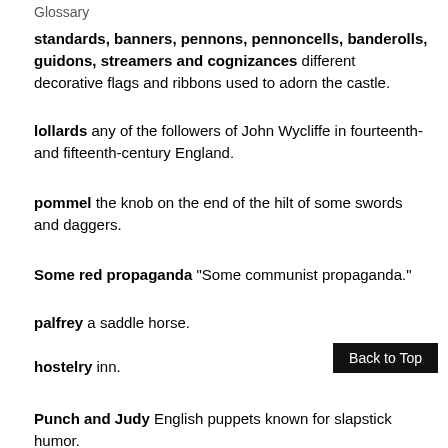Glossary
standards, banners, pennons, pennoncells, banderolls, guidons, streamers and cognizances different decorative flags and ribbons used to adorn the castle.
lollards any of the followers of John Wycliffe in fourteenth- and fifteenth-century England.
pommel the knob on the end of the hilt of some swords and daggers.
Some red propaganda "Some communist propaganda."
palfrey a saddle horse.
hostelry inn.
Punch and Judy English puppets known for slapstick humor.